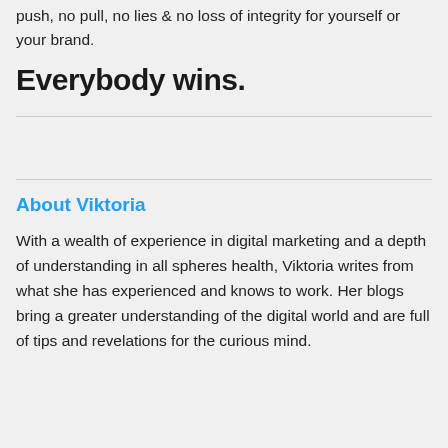push, no pull, no lies & no loss of integrity for yourself or your brand.
Everybody wins.
About Viktoria
With a wealth of experience in digital marketing and a depth of understanding in all spheres health, Viktoria writes from what she has experienced and knows to work. Her blogs bring a greater understanding of the digital world and are full of tips and revelations for the curious mind.